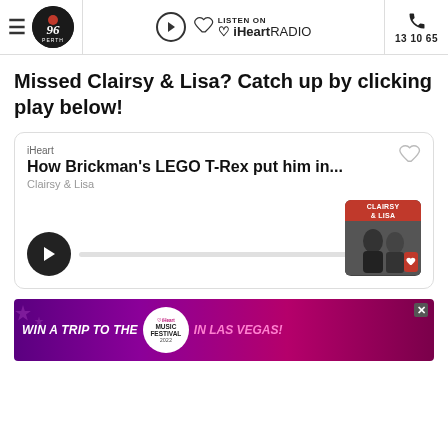96fm | LISTEN ON iHeartRADIO | 13 10 65
Missed Clairsy & Lisa? Catch up by clicking play below!
[Figure (other): iHeart audio player card showing 'How Brickman's LEGO T-Rex put him in...' by Clairsy & Lisa with a play button and progress bar. Thumbnail shows Clairsy & Lisa branding.]
[Figure (other): Advertisement banner: WIN A TRIP TO THE iHeart Music Festival 2022 IN LAS VEGAS!]